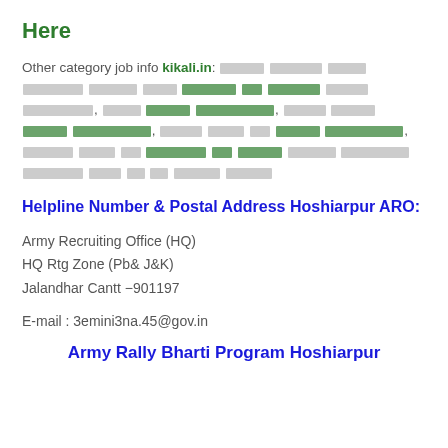Here
Other category job info kikali.in: [Hindi text with highlighted phrases about job categories and recruitment information]
Helpline Number & Postal Address Hoshiarpur ARO:
Army Recruiting Office (HQ)
HQ Rtg Zone (Pb& J&K)
Jalandhar Cantt −901197
E-mail : 3emini3na.45@gov.in
Army Rally Bharti Program Hoshiarpur